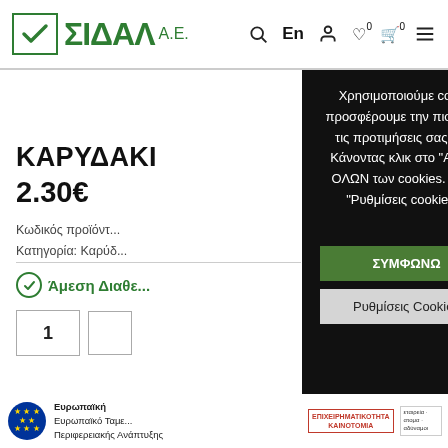ΣΙΔΑΛ Α.Ε. — website header with logo and navigation icons
ΚΑΡΥΔΑΚΙ
2.30€
Κωδικός προϊόντος
Κατηγορία: Καρύ...
Άμεση Διαθε...
1
[Figure (screenshot): Cookie consent modal overlay on dark background with Greek text and buttons: ΣΥΜΦΩΝΩ, Απόρριψη όλων, Ρυθμίσεις Cookies, Περισσότερα]
Χρησιμοποιούμε cookies στον ιστότοπό μας για να σας προσφέρουμε την πιο σχετική εμπειρία, απομνημονεύοντας τις προτιμήσεις σας και επαναλαμβανόμενες επισκέψεις. Κάνοντας κλικ στο "Αποδοχή όλων", συναινείτε στη χρήση ΟΛΩΝ των cookies. Ωστόσο, μπορείτε να επισκεφτείτε τις "Ρυθμίσεις cookie" για να παράσχετε μια ελεγχόμενη συγκατάθεση.
Ευρωπαϊκή | Ευρωπαϊκό Ταμε... Περιφερειακής Ανάπτυξης